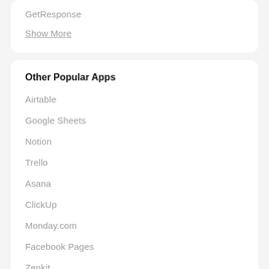GetResponse
Show More
Other Popular Apps
Airtable
Google Sheets
Notion
Trello
Asana
ClickUp
Monday.com
Facebook Pages
Zenkit
SimplyBook.me